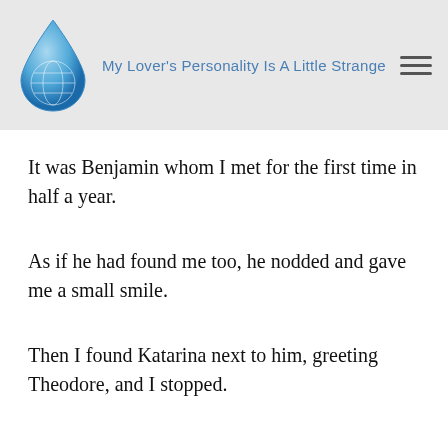My Lover's Personality Is A Little Strange
It was Benjamin whom I met for the first time in half a year.
As if he had found me too, he nodded and gave me a small smile.
Then I found Katarina next to him, greeting Theodore, and I stopped.